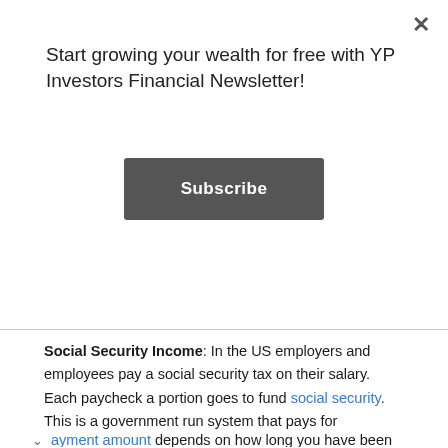Start growing your wealth for free with YP Investors Financial Newsletter!
Subscribe
Social Security Income: In the US employers and employees pay a social security tax on their salary. Each paycheck a portion goes to fund social security. This is a government run system that pays for Americans when they retire. It is basically a government retirement plan. Americans can start taking social security at age 62 and can defer taking it up to age 70. Once a person starts social security they will receive a monthly payment from the government.
ayment amount depends on how long you have been
[Figure (screenshot): Advertisement banner showing: checkmark In-store shopping, checkmark Curbside pickup, checkmark Delivery, with Whole Market logo and blue navigation icon]